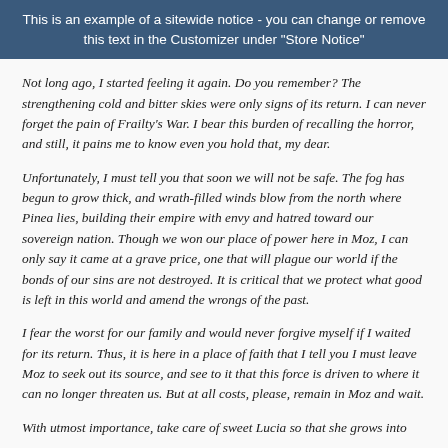This is an example of a sitewide notice - you can change or remove this text in the Customizer under "Store Notice"
Not long ago, I started feeling it again. Do you remember? The strengthening cold and bitter skies were only signs of its return. I can never forget the pain of Frailty’s War. I bear this burden of recalling the horror, and still, it pains me to know even you hold that, my dear.
Unfortunately, I must tell you that soon we will not be safe. The fog has begun to grow thick, and wrath-filled winds blow from the north where Pinea lies, building their empire with envy and hatred toward our sovereign nation. Though we won our place of power here in Moz, I can only say it came at a grave price, one that will plague our world if the bonds of our sins are not destroyed. It is critical that we protect what good is left in this world and amend the wrongs of the past.
I fear the worst for our family and would never forgive myself if I waited for its return. Thus, it is here in a place of faith that I tell you I must leave Moz to seek out its source, and see to it that this force is driven to where it can no longer threaten us. But at all costs, please, remain in Moz and wait.
With utmost importance, take care of sweet Lucia so that she grows into